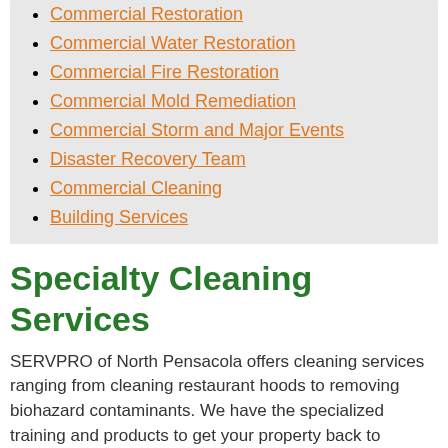Commercial Restoration
Commercial Water Restoration
Commercial Fire Restoration
Commercial Mold Remediation
Commercial Storm and Major Events
Disaster Recovery Team
Commercial Cleaning
Building Services
Specialty Cleaning Services
SERVPRO of North Pensacola offers cleaning services ranging from cleaning restaurant hoods to removing biohazard contaminants. We have the specialized training and products to get your property back to business. Our cleaning services include the following:
Air Ducts and HVAC
Biohazard and Sewage
Trauma and Crime Scene
Carpet and Upholstery
Drapes and Blinds
Ceilings, Walls, and Hard Floors